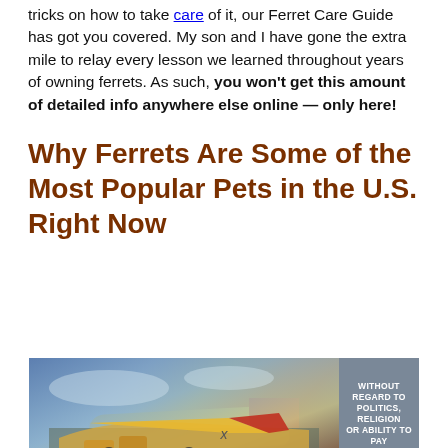tricks on how to take care of it, our Ferret Care Guide has got you covered. My son and I have gone the extra mile to relay every lesson we learned throughout years of owning ferrets. As such, you won't get this amount of detailed info anywhere else online — only here!
Why Ferrets Are Some of the Most Popular Pets in the U.S. Right Now
[Figure (photo): Advertisement banner showing an airplane being loaded with cargo, with text 'WITHOUT REGARD TO POLITICS, RELIGION, OR ABILITY TO PAY' on the right side over a gray background.]